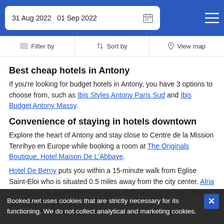31 Aug 2022  01 Sep 2022
Filter by  |  Sort by  |  View map
Best cheap hotels in Antony
If you're looking for budget hotels in Antony, you have 3 options to choose from, such as Ibis Styles Antony Paris Sud and Ibis Budget Antony Massy.
Convenience of staying in hotels downtown
Explore the heart of Antony and stay close to Centre de la Mission Tenrihyo en Europe while booking a room at The Originals Boutique, Hotel Maison De L'Abbaye.
Hotel De Berny puts you within a 15-minute walk from Eglise Saint-Eloi who is situated 0.5 miles away from the city center. Alria is adjacent to Eglise Saint-Eloi and is only a 5-minute walk from the center of Antony.
Booked.net uses cookies that are strictly necessary for its functioning. We do not collect analytical and marketing cookies.